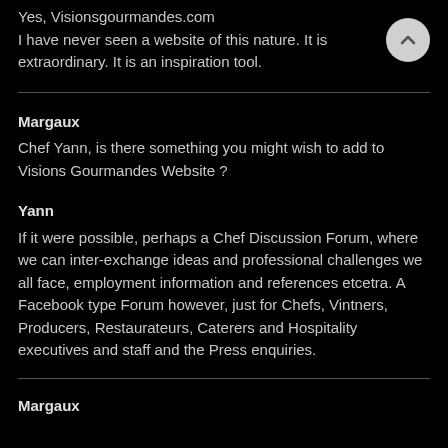Yes, Visionsgourmandes.com
I have never seen a website of this nature. It is extraordinary. It is an inspiration tool.
Margaux
Chef Yann, is there something you might wish to add to Visions Gourmandes Website ?
Yann
If it were possible, perhaps a Chef Discussion Forum, where we can inter-exchange ideas and professional challenges we all face, employment information and references etcetra. A Facebook type Forum however, just for Chefs, Vintners, Producers, Restaurateurs, Caterers and Hospitality executives and staff and the Press enquiries.
Margaux